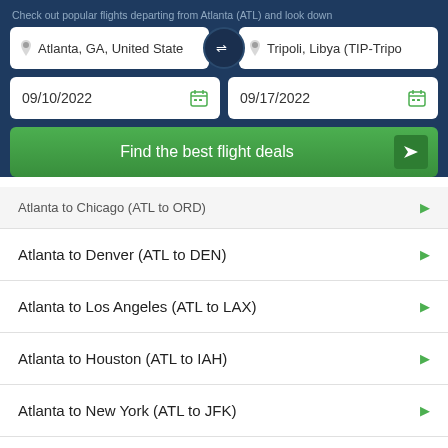Check out popular flights departing from Atlanta (ATL) and look down
Atlanta, GA, United State
Tripoli, Libya (TIP-Tripo
09/10/2022
09/17/2022
Find the best flight deals
Atlanta to Chicago (ATL to ORD)
Atlanta to Denver (ATL to DEN)
Atlanta to Los Angeles (ATL to LAX)
Atlanta to Houston (ATL to IAH)
Atlanta to New York (ATL to JFK)
Atlanta to San Francisco (ATL to SFO)